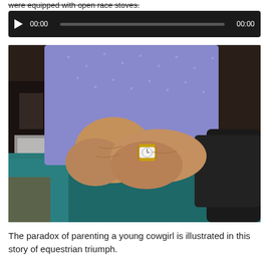were equipped with open race stoves.
[Figure (screenshot): Audio player with black background, play button, timestamp 00:00 on left, gray progress bar in center, timestamp 00:00 on right]
[Figure (photo): Close-up photo of elderly person's hands folded together, wearing a blue/purple polka dot shirt and a gold wristwatch, seated with teal pants, various items in dark background]
The paradox of parenting a young cowgirl is illustrated in this story of equestrian triumph.